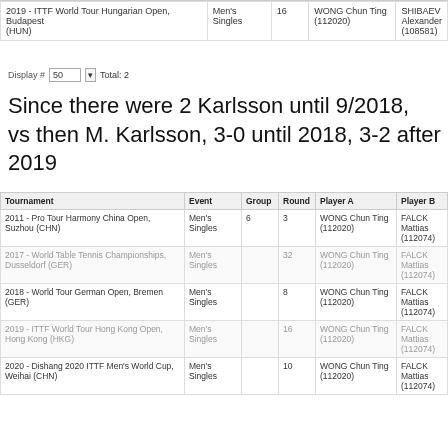| Tournament | Event | Group | Round | Player A | Player B |
| --- | --- | --- | --- | --- | --- |
| 2019 - ITTF World Tour Hungarian Open, Budapest (HUN) | Men's Singles | 16 |  | WONG Chun Ting (112020) | SHIBAEV Alexander (108581) |
Display # 50 v Total: 2
Since there were 2 Karlsson until 9/2018, vs then M. Karlsson, 3-0 until 2018, 3-2 after 2019
| Tournament | Event | Group | Round | Player A | Player B |
| --- | --- | --- | --- | --- | --- |
| 2011 - Pro Tour Harmony China Open, Suzhou (CHN) | Men's Singles | 6 | 3 | WONG Chun Ting (112020) | FALCK Mattias (112074) |
| 2017 - World Table Tennis Championships, Dusseldorf (GER) | Men's Singles |  | 32 | WONG Chun Ting (112020) | FALCK Mattias (112074) |
| 2018 - World Tour German Open, Bremen (GER) | Men's Singles |  | 8 | WONG Chun Ting (112020) | FALCK Mattias (112074) |
| 2019 - ITTF World Tour Hong Kong Open, Hong Kong (HKG) | Men's Singles |  | 16 | WONG Chun Ting (112020) | FALCK Mattias (112074) |
| 2020 - Dishang 2020 ITTF Men's World Cup, Weihai (CHN) | Men's Singles |  | 10 | WONG Chun Ting (112020) | FALCK Mattias (112074) |